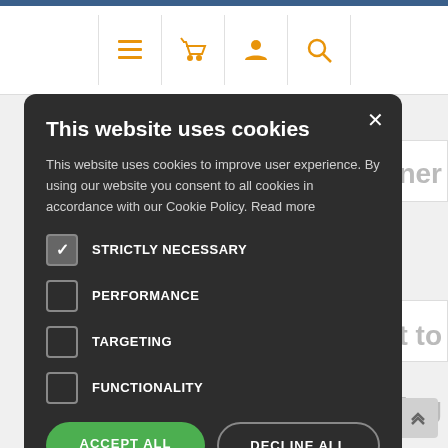[Figure (screenshot): Website navigation bar with orange icons: hamburger menu, shopping basket, user profile, and search magnifier]
This website uses cookies
This website uses cookies to improve user experience. By using our website you consent to all cookies in accordance with our Cookie Policy. Read more
STRICTLY NECESSARY (checked)
PERFORMANCE
TARGETING
FUNCTIONALITY
ACCEPT ALL   DECLINE ALL
SHOW DETAILS
POWERED BY COOKIESCRIPT